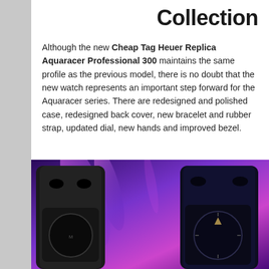Collection
Although the new Cheap Tag Heuer Replica Aquaracer Professional 300 maintains the same profile as the previous model, there is no doubt that the new watch represents an important step forward for the Aquaracer series. There are redesigned and polished case, redesigned back cover, new bracelet and rubber strap, updated dial, new hands and improved bezel.
[Figure (photo): Two Tag Heuer Aquaracer Professional 300 watches with black rubber straps photographed against a vibrant purple and blue background with pink and magenta light streaks.]